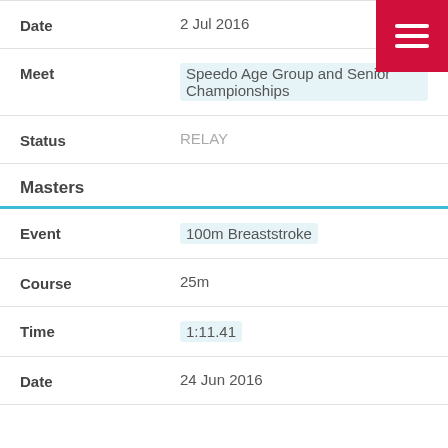Date: 2 Jul 2016
Meet: Speedo Age Group and Senior Championships
Status: RELAY
Masters
Event: 100m Breaststroke
Course: 25m
Time: 1:11.41
Date: 24 Jun 2016